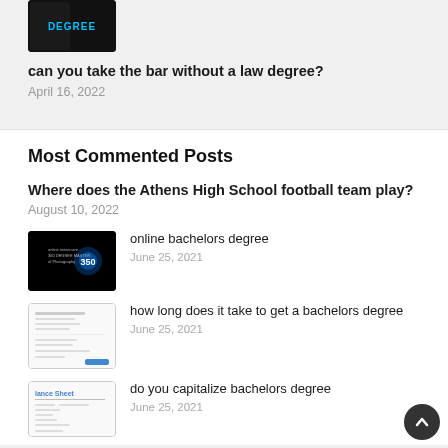[Figure (photo): Thumbnail image with dark background and 'DEGREE' text in blue]
can you take the bar without a law degree?
April 16, 2022
Most Commented Posts
Where does the Athens High School football team play?
August 10, 2022
[Figure (photo): Dark thumbnail with online bachelors degree imagery]
online bachelors degree
June 25, 2021
[Figure (photo): Document/form thumbnail]
how long does it take to get a bachelors degree
June 25, 2021
[Figure (photo): Lance Sheet document thumbnail]
do you capitalize bachelors degree
June 25, 2021